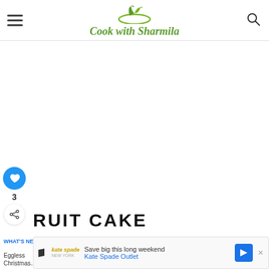Cook with Sharmila
[Figure (other): White advertisement banner space]
[Figure (other): Heart/like button (blue circle with heart icon), count 3, and share button]
FRUIT CAKE
oaked fruits and toss them with about 2 tbsp of flour. This will prevent the fr... of the fl...
[Figure (other): What's Next promo: Eggless Christmas... with circular food thumbnail]
[Figure (other): Advertisement overlay: Save big this long weekend - Kate Spade Outlet]